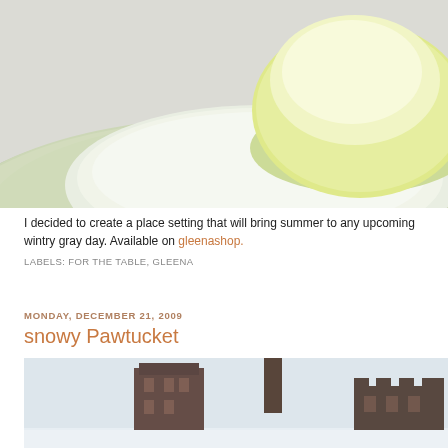[Figure (photo): Close-up photo of stacked ceramic dinnerware: a large pale green plate with a smaller white plate and a pale yellow bowl on top, shot on a gray background.]
I decided to create a place setting that will bring summer to any upcoming wintry gray day. Available on gleenashop.
LABELS: FOR THE TABLE, GLEENA
MONDAY, DECEMBER 21, 2009
snowy Pawtucket
[Figure (photo): Snowy outdoor scene of Pawtucket, showing dark brick industrial buildings with a smokestack against a pale gray winter sky, with snow on the ground.]